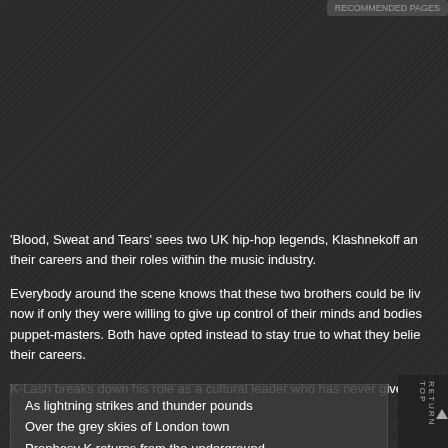'Blood, Sweat and Tears' sees two UK hip-hop legends, Klashnekoff and their careers and their roles within the music industry.
Everybody around the scene knows that these two brothers could be living now if only they were willing to give up control of their minds and bodies puppet-masters. Both have opted instead to stay true to what they believe their careers.
K-Lash breaks down his role as a cultural leader who has never given i
As lightning strikes and thunder pounds
Over the grey skies of London town
Prophesy K returns from the underground